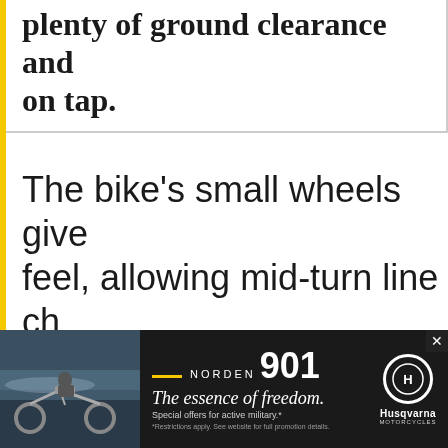plenty of ground clearance and on tap.
The bike's small wheels give feel, allowing mid-turn line ch The Cyclone's firm suspension stable in the turns but can fe asphalt and potholes. The fir suspension can begin to ca
[Figure (photo): Advertisement banner for Husqvarna Norden 901 motorcycle. Shows motorcycle and rider on left side against scenic background. Text reads 'Norden 901 - The essence of freedom. Special offers for active military.' with Husqvarna logo on right.]